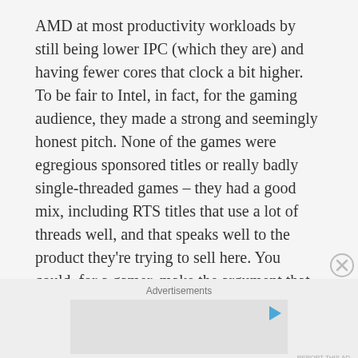AMD at most productivity workloads by still being lower IPC (which they are) and having fewer cores that clock a bit higher. To be fair to Intel, in fact, for the gaming audience, they made a strong and seemingly honest pitch. None of the games were egregious sponsored titles or really badly single-threaded games – they had a good mix, including RTS titles that use a lot of threads well, and that speaks well to the product they're trying to sell here. You could, for a gamer, make the argument that streaming, fast becoming a thing that more and more
Advertisements